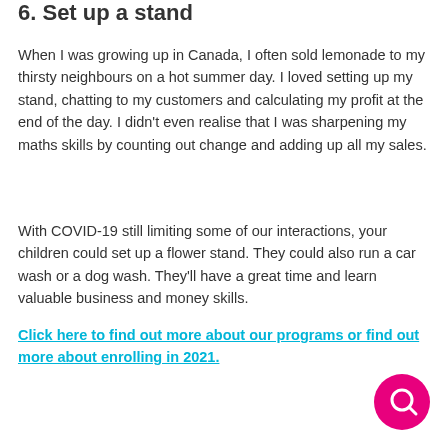6. Set up a stand
When I was growing up in Canada, I often sold lemonade to my thirsty neighbours on a hot summer day. I loved setting up my stand, chatting to my customers and calculating my profit at the end of the day. I didn't even realise that I was sharpening my maths skills by counting out change and adding up all my sales.
With COVID-19 still limiting some of our interactions, your children could set up a flower stand. They could also run a car wash or a dog wash. They'll have a great time and learn valuable business and money skills.
Click here to find out more about our programs or find out more about enrolling in 2021.
[Figure (illustration): Pink circular chat/search button icon in the bottom right corner]